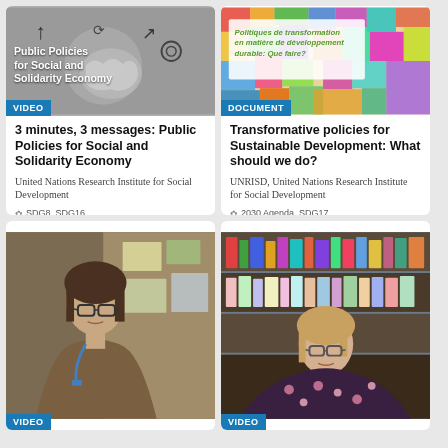[Figure (screenshot): Card 1 top-left: Public Policies for Social and Solidarity Economy video thumbnail with grey background, symbolic icons (arrows, brain, recycling), white bold title text, and VIDEO badge]
3 minutes, 3 messages: Public Policies for Social and Solidarity Economy
United Nations Research Institute for Social Development
SDG8  SDG16
Social and solidarity eco...
English
[Figure (screenshot): Card 2 top-right: Transformative policies document thumbnail with colorful mosaic background, French text label, and DOCUMENT badge]
Transformative policies for Sustainable Development: What should we do?
UNRISD, United Nations Research Institute for Social Development
2030 Agenda  SDG17
SDG17: Systemic Issues
Innovative development...
French
[Figure (photo): Card 3 bottom-left: Woman with glasses and blue lanyard speaking, brown/warm background, office setting with notices on bulletin board, VIDEO badge]
[Figure (photo): Card 4 bottom-right: Woman with glasses in floral top speaking, library bookshelf background with colorful books, VIDEO badge]